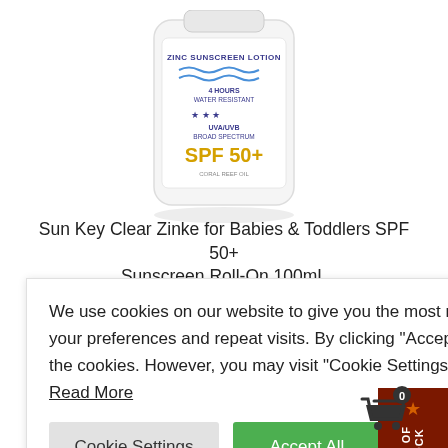[Figure (photo): Product photo of Sun Key Clear Zinke sunscreen lotion bottle, partially cropped at top. White bottle with label showing zinc sunscreen lotion, 4 hours water resistant, UVA/UVB broad spectrum, SPF 50+, coral reef oil.]
Sun Key Clear Zinke for Babies & Toddlers SPF 50+ Sunscreen Roll-On 100mL
$12.99  $11.95
We use cookies on our website to give you the most relevant experience by remembering your preferences and repeat visits. By clicking "Accept All", you consent to the use of ALL the cookies. However, you may visit "Cookie Settings" to provide a controlled consent. Read More
Cookie Settings   Accept All
OUT OF STOCK
[Figure (illustration): Shopping cart icon with badge showing 0 items]